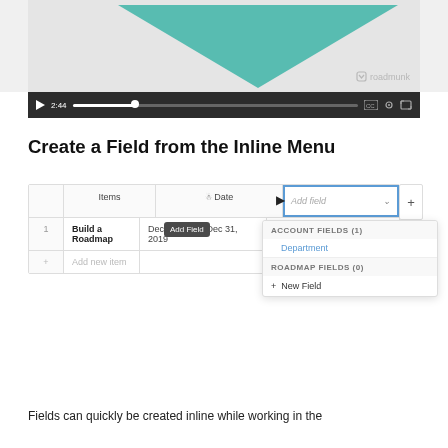[Figure (screenshot): Video player showing Roadmunk interface with teal triangle graphic and playback controls at 2:44]
Create a Field from the Inline Menu
[Figure (screenshot): Screenshot of Roadmunk table interface showing Items and Date columns with Add field dropdown open, showing ACCOUNT FIELDS (1) with Department and Add Field tooltip, and ROADMAP FIELDS (0) with New Field option]
Fields can quickly be created inline while working in the